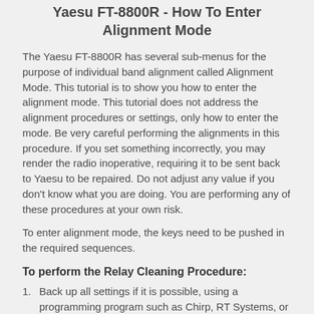Yaesu FT-8800R - How To Enter Alignment Mode
The Yaesu FT-8800R has several sub-menus for the purpose of individual band alignment called Alignment Mode. This tutorial is to show you how to enter the alignment mode. This tutorial does not address the alignment procedures or settings, only how to enter the mode. Be very careful performing the alignments in this procedure. If you set something incorrectly, you may render the radio inoperative, requiring it to be sent back to Yaesu to be repaired. Do not adjust any value if you don't know what you are doing. You are performing any of these procedures at your own risk.
To enter alignment mode, the keys need to be pushed in the required sequences.
To perform the Relay Cleaning Procedure:
Back up all settings if it is possible, using a programming program such as Chirp, RT Systems, or Yaesu's programming software.